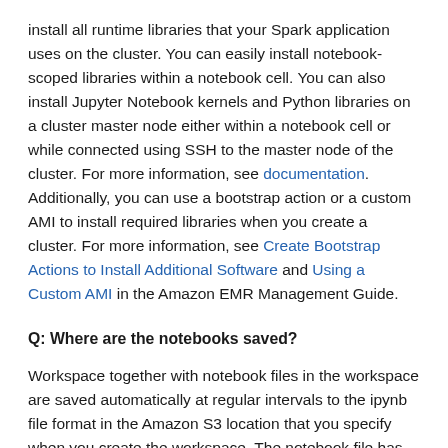install all runtime libraries that your Spark application uses on the cluster. You can easily install notebook-scoped libraries within a notebook cell. You can also install Jupyter Notebook kernels and Python libraries on a cluster master node either within a notebook cell or while connected using SSH to the master node of the cluster. For more information, see documentation. Additionally, you can use a bootstrap action or a custom AMI to install required libraries when you create a cluster. For more information, see Create Bootstrap Actions to Install Additional Software and Using a Custom AMI in the Amazon EMR Management Guide.
Q: Where are the notebooks saved?
Workspace together with notebook files in the workspace are saved automatically at regular intervals to the ipynb file format in the Amazon S3 location that you specify when you create the workspace. The notebook file has the same name